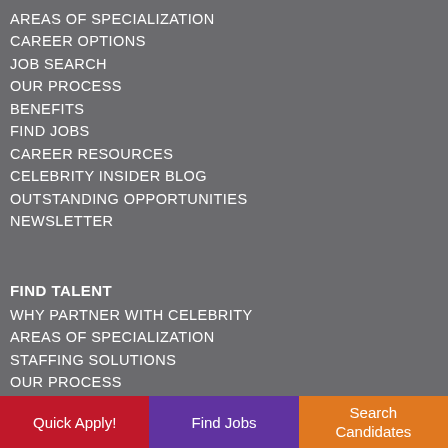AREAS OF SPECIALIZATION
CAREER OPTIONS
JOB SEARCH
OUR PROCESS
BENEFITS
FIND JOBS
CAREER RESOURCES
CELEBRITY INSIDER BLOG
OUTSTANDING OPPORTUNITIES
NEWSLETTER
FIND TALENT
WHY PARTNER WITH CELEBRITY
AREAS OF SPECIALIZATION
STAFFING SOLUTIONS
OUR PROCESS
REQUEST TALENT
ONLINE TIMECARD APPROVAL
EMPLOYER RESOURCES
Quick Apply!
Find Jobs
Search Candidates